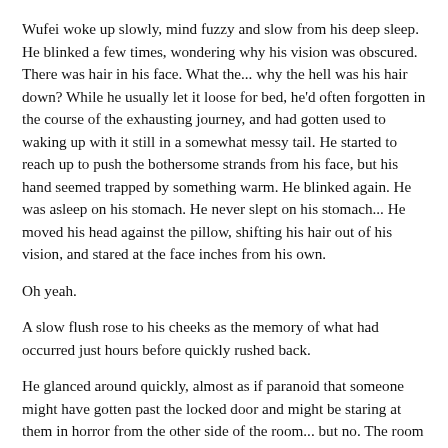Wufei woke up slowly, mind fuzzy and slow from his deep sleep. He blinked a few times, wondering why his vision was obscured. There was hair in his face. What the... why the hell was his hair down? While he usually let it loose for bed, he'd often forgotten in the course of the exhausting journey, and had gotten used to waking up with it still in a somewhat messy tail. He started to reach up to push the bothersome strands from his face, but his hand seemed trapped by something warm. He blinked again. He was asleep on his stomach. He never slept on his stomach... He moved his head against the pillow, shifting his hair out of his vision, and stared at the face inches from his own.
Oh yeah.
A slow flush rose to his cheeks as the memory of what had occurred just hours before quickly rushed back.
He glanced around quickly, almost as if paranoid that someone might have gotten past the locked door and might be staring at them in horror from the other side of the room... but no. The room was empty and silent, aside from Heero's slow, even breathing. He allowed himself to relax, returning his attention to the face on the pillow beside his. Heero's face was completely relaxed in slumber, making him for once look his age. Wufei felt a smirk tug at his